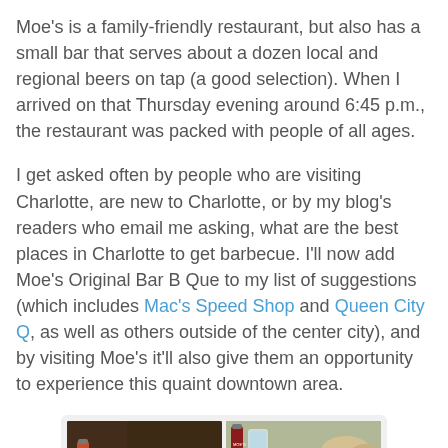Moe's is a family-friendly restaurant, but also has a small bar that serves about a dozen local and regional beers on tap (a good selection). When I arrived on that Thursday evening around 6:45 p.m., the restaurant was packed with people of all ages.
I get asked often by people who are visiting Charlotte, are new to Charlotte, or by my blog's readers who email me asking, what are the best places in Charlotte to get barbecue. I'll now add Moe's Original Bar B Que to my list of suggestions (which includes Mac's Speed Shop and Queen City Q, as well as others outside of the center city), and by visiting Moe's it'll also give them an opportunity to experience this quaint downtown area.
[Figure (photo): A 2x2 grid of food photos showing barbecue dishes from Moe's Original Bar B Que restaurant]